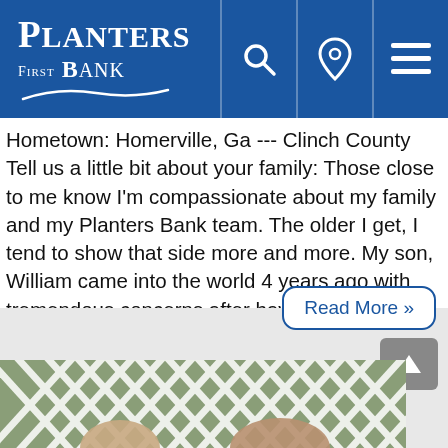Planters First Bank
Hometown: Homerville, Ga --- Clinch County Tell us a little bit about your family: Those close to me know I'm compassionate about my family and my Planters Bank team. The older I get, I tend to show that side more and more. My son, William came into the world 4 years ago with tremendous concerns after having a stroke in utero. Thanks to the power of prayers, God healed the damage. My daughter, Julia came 2 years later. Julia is the typical daddy’s girl and William is mama’s boy....
Read More »
[Figure (photo): A photo of people visible from below/partial view at the bottom of the page, with a lattice/trellis pattern in the background.]